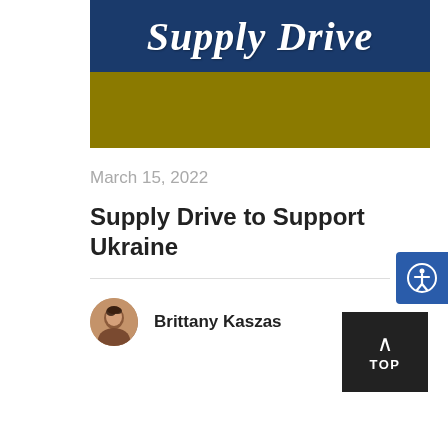[Figure (illustration): Supply Drive banner with dark navy blue top half containing white cursive 'Supply Drive' text, and olive/gold bottom half]
March 15, 2022
Supply Drive to Support Ukraine
Brittany Kaszas